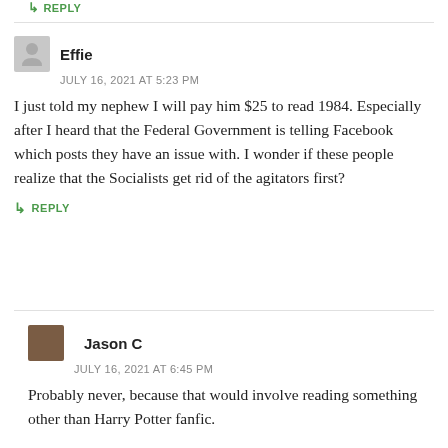↳ REPLY
Effie
JULY 16, 2021 AT 5:23 PM
I just told my nephew I will pay him $25 to read 1984. Especially after I heard that the Federal Government is telling Facebook which posts they have an issue with. I wonder if these people realize that the Socialists get rid of the agitators first?
↳ REPLY
Jason C
JULY 16, 2021 AT 6:45 PM
Probably never, because that would involve reading something other than Harry Potter fanfic.